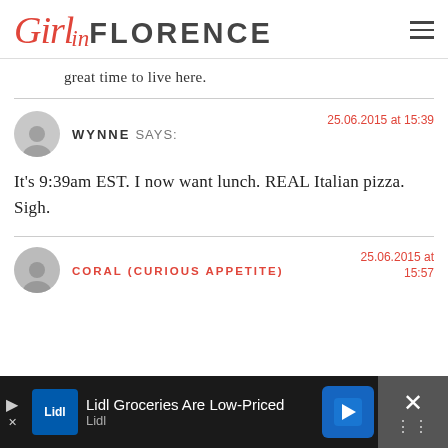Girl in FLORENCE
great time to live here.
WYNNE SAYS: 25.06.2015 at 15:39
It's 9:39am EST. I now want lunch. REAL Italian pizza. Sigh.
CORAL (CURIOUS APPETITE) 25.06.2015 at 15:57
[Figure (other): Advertisement bar: Lidl Groceries Are Low-Priced, Lidl logo, navigation arrow icon, close button with X]